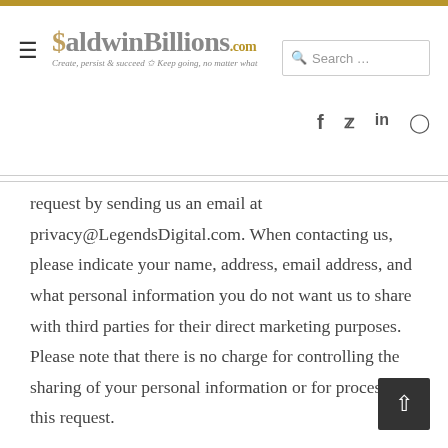BaldwinBillions.com — Create, persist & succeed ✩ Keep going, no matter what
request by sending us an email at privacy@LegendsDigital.com. When contacting us, please indicate your name, address, email address, and what personal information you do not want us to share with third parties for their direct marketing purposes. Please note that there is no charge for controlling the sharing of your personal information or for processing this request.